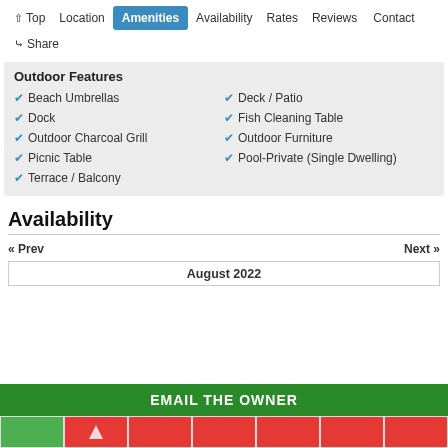↑ Top  Location  Amenities  Availability  Rates  Reviews  Contact  Share
Outdoor Features
Beach Umbrellas
Deck / Patio
Dock
Fish Cleaning Table
Outdoor Charcoal Grill
Outdoor Furniture
Picnic Table
Pool-Private (Single Dwelling)
Terrace / Balcony
Availability
« Prev    Next »
August 2022
EMAIL THE OWNER